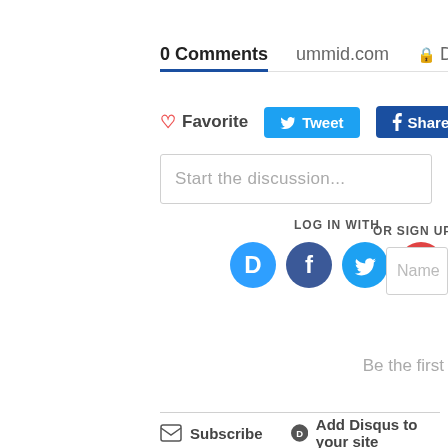0 Comments   ummid.com   🔒 Disqus' P
♡ Favorite   Tweet   Share
Start the discussion...
LOG IN WITH
OR SIGN UP W
Name
Be the first
Subscribe   Add Disqus to your site